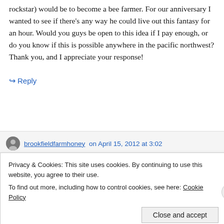rockstar) would be to become a bee farmer. For our anniversary I wanted to see if there's any way he could live out this fantasy for an hour. Would you guys be open to this idea if I pay enough, or do you know if this is possible anywhere in the pacific northwest? Thank you, and I appreciate your response!
↪ Reply
brookfieldfarmhoney on April 15, 2012 at 3:02
Privacy & Cookies: This site uses cookies. By continuing to use this website, you agree to their use.
To find out more, including how to control cookies, see here: Cookie Policy
Close and accept